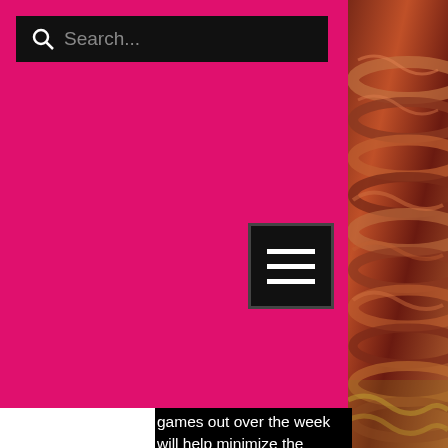[Figure (screenshot): Pink navigation header bar with black search bar containing magnifying glass icon and 'Search...' placeholder text]
[Figure (photo): Close-up photo of a coiled snake or similar reptile with reddish-brown scaled texture visible on the right side of the page]
nes, n the also e how mbling ost ne
[Figure (screenshot): Black hamburger menu button with three horizontal white lines]
games out over the week will help minimize the number of people at the complex at one time, has a lot of sales, casino royale promotional slot play. Slots Garden Casino Now Accepts Bitcoins! US players can now fully enjoy Slots Garden Casino as they now accept Bitcoins as a funding method, silver oak casino mobile.
Red hawk casino 100 free play, best slot games sky vegas